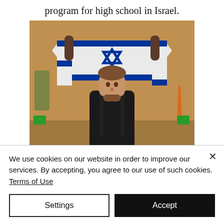program for high school in Israel.
[Figure (photo): A young man holding up an Israeli flag (white with blue Star of David and stripes) above his head with both hands, wearing a black hoodie and backpack, standing in what appears to be an airport or public building interior.]
He came to Israel for the second time
We use cookies on our website in order to improve our services. By accepting, you agree to our use of such cookies. Terms of Use
Settings
Accept